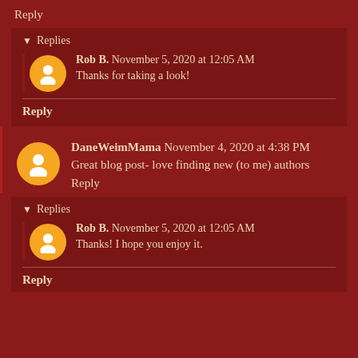Reply
Replies
Rob B.  November 5, 2020 at 12:05 AM
Thanks for taking a look!
Reply
DaneWeimMama  November 4, 2020 at 4:38 PM
Great blog post- love finding new (to me) authors
Reply
Replies
Rob B.  November 5, 2020 at 12:05 AM
Thanks! I hope you enjoy it.
Reply